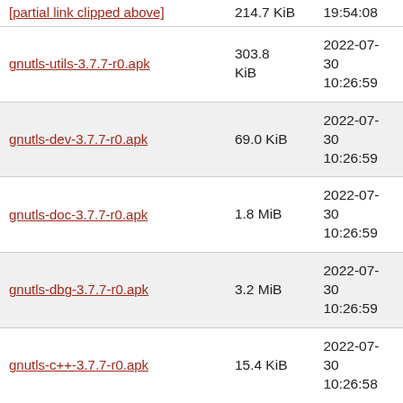| [partial row top] | 214.7 KiB | 19:54:08 |
| gnutls-utils-3.7.7-r0.apk | 303.8 KiB | 2022-07-30 10:26:59 |
| gnutls-dev-3.7.7-r0.apk | 69.0 KiB | 2022-07-30 10:26:59 |
| gnutls-doc-3.7.7-r0.apk | 1.8 MiB | 2022-07-30 10:26:59 |
| gnutls-dbg-3.7.7-r0.apk | 3.2 MiB | 2022-07-30 10:26:59 |
| gnutls-c++-3.7.7-r0.apk | 15.4 KiB | 2022-07-30 10:26:58 |
| gnutls-3.7.7-r0.apk | 831.4 KiB | 2022-07-30 10:26:58 |
| xen-qemu-4.16.1-r5.apk | 20.6 MiB | 2022-07-29 23:45:12 |
| xen-libs-4.16.1-r5.apk | 563.1 KiB | 2022-07-29 23:45:10 |
| xen-doc-4.16.1-r5.apk | 970.8 KiB | 2022-07-29 23:45:10 |
| xen-dev-4.16.1-r5.apk | 1.0 MiB | 2022-07-29 23:45:10 |
| xen-hypervisor-4.16.1-r5.apk | 701.8 | 2022-07-29 |